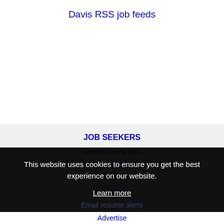Davis RSS job feeds
JOB SEEKERS
Search Davis jobs
Post your resume
Email job alerts
Post a job
This website uses cookies to ensure you get the best experience on our website.
Learn more
Got it!
Email resume alerts
Advertise